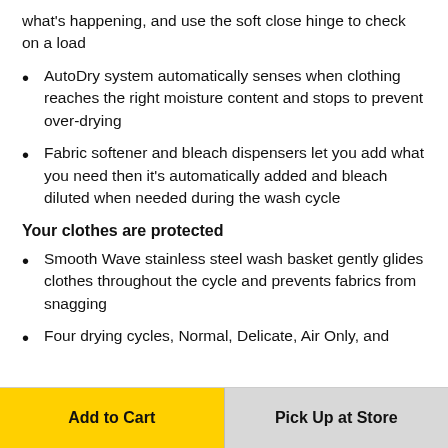what's happening, and use the soft close hinge to check on a load
AutoDry system automatically senses when clothing reaches the right moisture content and stops to prevent over-drying
Fabric softener and bleach dispensers let you add what you need then it's automatically added and bleach diluted when needed during the wash cycle
Your clothes are protected
Smooth Wave stainless steel wash basket gently glides clothes throughout the cycle and prevents fabrics from snagging
Four drying cycles, Normal, Delicate, Air Only, and
Add to Cart
Pick Up at Store